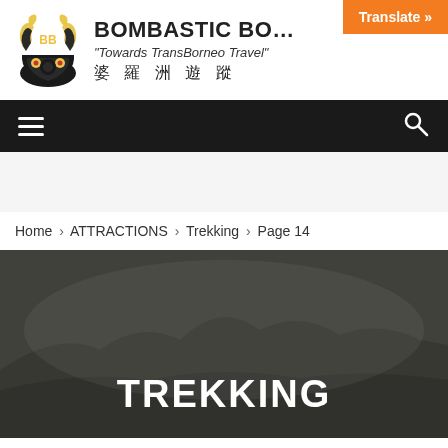BOMBASTIC BO... | Towards TransBorneo Travel | 婆 羅 洲 遊 蹤
Translate »
Home › ATTRACTIONS › Trekking › Page 14
TREKKING